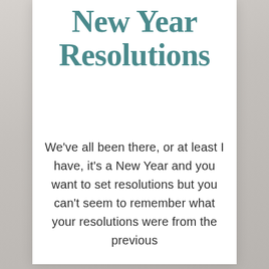New Year Resolutions
We've all been there, or at least I have, it's a New Year and you want to set resolutions but you can't seem to remember what your resolutions were from the previous